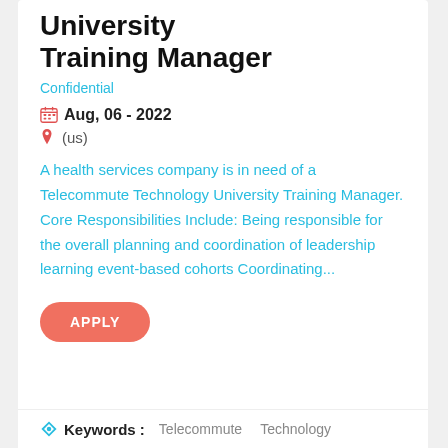University Training Manager
Confidential
Aug, 06 - 2022
(us)
A health services company is in need of a Telecommute Technology University Training Manager. Core Responsibilities Include: Being responsible for the overall planning and coordination of leadership learning event-based cohorts Coordinating...
APPLY
Keywords :  Telecommute  Technology